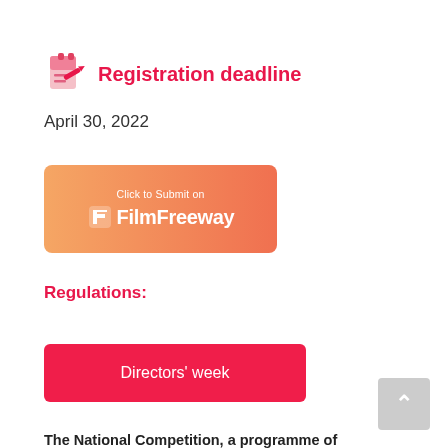Registration deadline
April 30, 2022
[Figure (logo): Click to Submit on FilmFreeway button — gradient orange/coral rectangle with FilmFreeway logo and text]
Regulations:
[Figure (other): Red button labeled Directors' week]
The National Competition, a programme of...